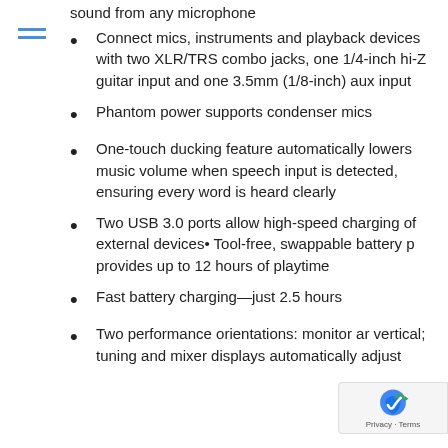sound from any microphone
Connect mics, instruments and playback devices with two XLR/TRS combo jacks, one 1/4-inch hi-Z guitar input and one 3.5mm (1/8-inch) aux input
Phantom power supports condenser mics
One-touch ducking feature automatically lowers music volume when speech input is detected, ensuring every word is heard clearly
Two USB 3.0 ports allow high-speed charging of external devices• Tool-free, swappable battery p provides up to 12 hours of playtime
Fast battery charging—just 2.5 hours
Two performance orientations: monitor ar vertical; tuning and mixer displays automatically adjust